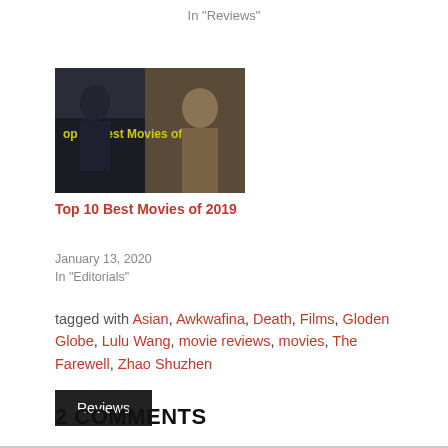In "Reviews"
[Figure (photo): Thumbnail image for Top 10 Best Movies of 2019 article, showing two figures with yellow text overlay reading 'op 10 Best Movies of 201']
Top 10 Best Movies of 2019
January 13, 2020
In "Editorials"
tagged with Asian, Awkwafina, Death, Films, Gloden Globe, Lulu Wang, movie reviews, movies, The Farewell, Zhao Shuzhen
Reviews
2 COMMENTS